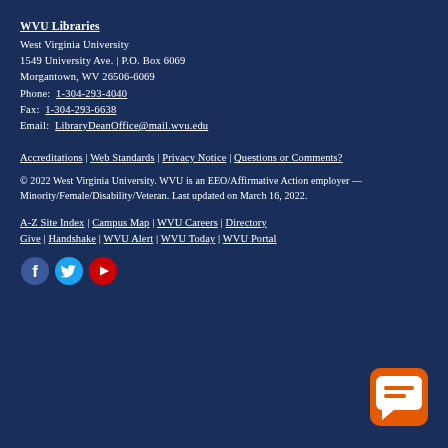WVU Libraries
West Virginia University
1549 University Ave. | P.O. Box 6069
Morgantown, WV 26506-6069
Phone: 1-304-293-4040
Fax: 1-304-293-6638
Email: LibraryDeanOffice@mail.wvu.edu
Accreditations | Web Standards | Privacy Notice | Questions or Comments?
© 2022 West Virginia University. WVU is an EEO/Affirmative Action employer — Minority/Female/Disability/Veteran. Last updated on March 16, 2022.
A-Z Site Index | Campus Map | WVU Careers | Directory Give | Handshake | WVU Alert | WVU Today | WVU Portal
[Figure (infographic): Three social media icons: Facebook (blue circle with f), Twitter (cyan circle with bird), YouTube (red circle with play button)]
[Figure (infographic): Orange rounded square chat/message button icon in bottom right corner]